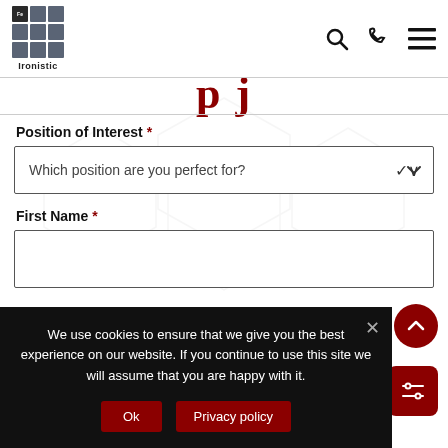[Figure (logo): Ironistic logo: 3x3 grid of dark grey squares with 'Fe' in top-left cell, and 'Ironistic' text below]
Navigation icons: search, phone, hamburger menu
p j (partial, cropped)
Position of Interest *
Which position are you perfect for? (dropdown)
First Name *
Last Name *
We use cookies to ensure that we give you the best experience on our website. If you continue to use this site we will assume that you are happy with it.
Ok
Privacy policy